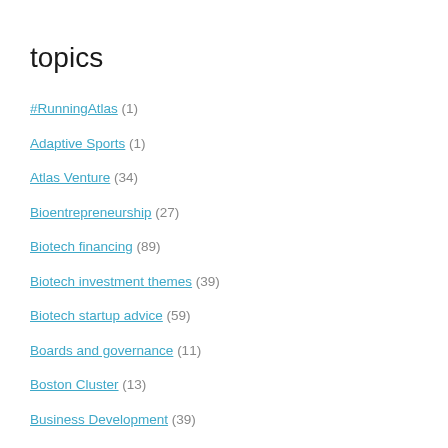topics
#RunningAtlas (1)
Adaptive Sports (1)
Atlas Venture (34)
Bioentrepreneurship (27)
Biotech financing (89)
Biotech investment themes (39)
Biotech startup advice (59)
Boards and governance (11)
Boston Cluster (13)
Business Development (39)
Capital efficiency (21)
Capital markets (41)
Corporate Culture (42)